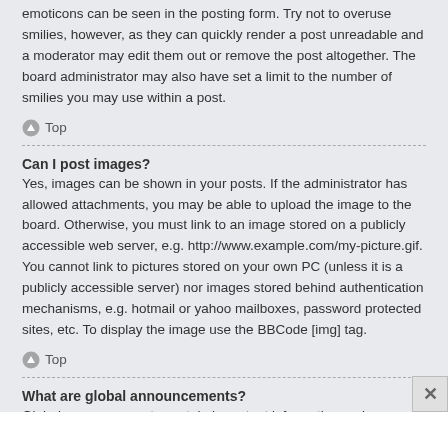emoticons can be seen in the posting form. Try not to overuse smilies, however, as they can quickly render a post unreadable and a moderator may edit them out or remove the post altogether. The board administrator may also have set a limit to the number of smilies you may use within a post.
↑ Top
Can I post images?
Yes, images can be shown in your posts. If the administrator has allowed attachments, you may be able to upload the image to the board. Otherwise, you must link to an image stored on a publicly accessible web server, e.g. http://www.example.com/my-picture.gif. You cannot link to pictures stored on your own PC (unless it is a publicly accessible server) nor images stored behind authentication mechanisms, e.g. hotmail or yahoo mailboxes, password protected sites, etc. To display the image use the BBCode [img] tag.
↑ Top
What are global announcements?
Global announcements contain important information and you should read them whenever possible. They will appear at the top of every forum and within your User Control Panel. Global announcement permissions are granted by the board administrator.